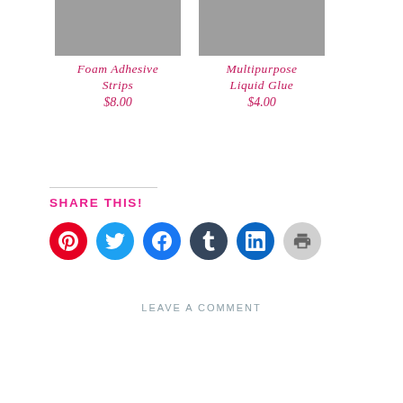[Figure (photo): Foam Adhesive Strips product photo on teal background]
Foam Adhesive Strips
$8.00
[Figure (photo): Multipurpose Liquid Glue product photo on teal background]
Multipurpose Liquid Glue
$4.00
SHARE THIS!
[Figure (infographic): Social share icons: Pinterest, Twitter, Facebook, Tumblr, LinkedIn, Print]
LEAVE A COMMENT